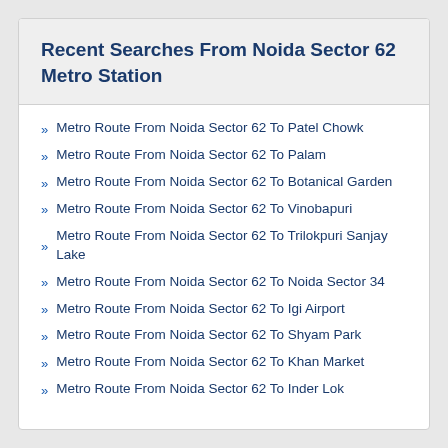Recent Searches From Noida Sector 62 Metro Station
Metro Route From Noida Sector 62 To Patel Chowk
Metro Route From Noida Sector 62 To Palam
Metro Route From Noida Sector 62 To Botanical Garden
Metro Route From Noida Sector 62 To Vinobapuri
Metro Route From Noida Sector 62 To Trilokpuri Sanjay Lake
Metro Route From Noida Sector 62 To Noida Sector 34
Metro Route From Noida Sector 62 To Igi Airport
Metro Route From Noida Sector 62 To Shyam Park
Metro Route From Noida Sector 62 To Khan Market
Metro Route From Noida Sector 62 To Inder Lok